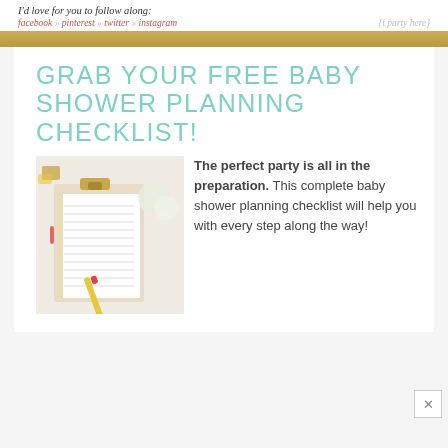I'd love for you to follow along:
facebook » pinterest » twitter » instagram
{i party here}
GRAB YOUR FREE BABY SHOWER PLANNING CHECKLIST!
[Figure (photo): Photo of a baby shower planning checklist on a clipboard with a decorative pen, flowers, and party items in the background]
The perfect party is all in the preparation. This complete baby shower planning checklist will help you with every step along the way!